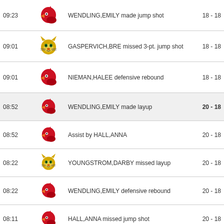| Time | Team | Play | Score |
| --- | --- | --- | --- |
| 09:23 | Cardinal | WENDLING,EMILY made jump shot | 18 - 18 |
| 09:01 | Wildcat | GASPERVICH,BRE missed 3-pt. jump shot | 18 - 18 |
| 09:01 | Cardinal | NIEMAN,HALEE defensive rebound | 18 - 18 |
| 08:52 | Cardinal | WENDLING,EMILY made layup | 20 - 18 |
| 08:52 | Cardinal | Assist by HALL,ANNA | 20 - 18 |
| 08:22 | Wildcat | YOUNGSTROM,DARBY missed layup | 20 - 18 |
| 08:22 | Cardinal | WENDLING,EMILY defensive rebound | 20 - 18 |
| 08:11 | Cardinal | HALL,ANNA missed jump shot | 20 - 18 |
| 08:11 | Wildcat | YOUNGSTROM,DARBY defensive rebound | 20 - 18 |